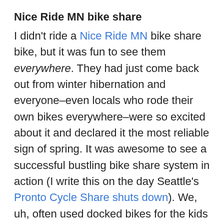Nice Ride MN bike share
I didn't ride a Nice Ride MN bike share bike, but it was fun to see them everywhere. They had just come back out from winter hibernation and everyone–even locals who rode their own bikes everywhere–were so excited about it and declared it the most reliable sign of spring. It was awesome to see a successful bustling bike share system in action (I write this on the day Seattle's Pronto Cycle Share shuts down). We, uh, often used docked bikes for the kids to climb up for boarding the Xtracycle deck because like I said, they're everywhere.
Recap of our week
I'm going to do a quick recap of our week of activities below, with miles per day and links to my Strava maps. Nowadays I have a Garmin Edge 520 that's easy to record